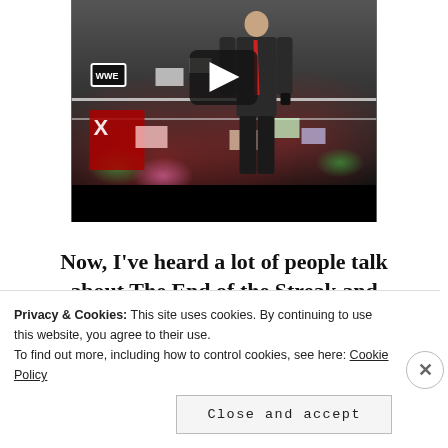[Figure (screenshot): Video thumbnail showing a man in a dark suit with a red tie standing in a WWE wrestling ring, with a crowd in background and a play button overlay. The lower portion of the video area is a black bar.]
Now, I've heard a lot of people talk about The End of the Streak and
Privacy & Cookies: This site uses cookies. By continuing to use this website, you agree to their use.
To find out more, including how to control cookies, see here: Cookie Policy
Close and accept